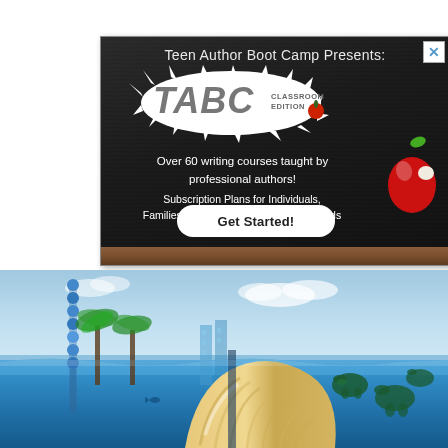[Figure (infographic): Teen Author Boot Camp advertisement banner on dark chalkboard background. Shows 'TABC Classroom Edition' logo with paint splash effect, text about writing courses, subscription plans, a Get Started button, and a red apple illustration.]
[Figure (photo): Outdoor photo showing a colorful mural with ocean/underwater theme including sea turtles, a large seashell, palm trees, blue sky, and a blue beaded decorative pole. Appears to be at a resort or educational facility.]